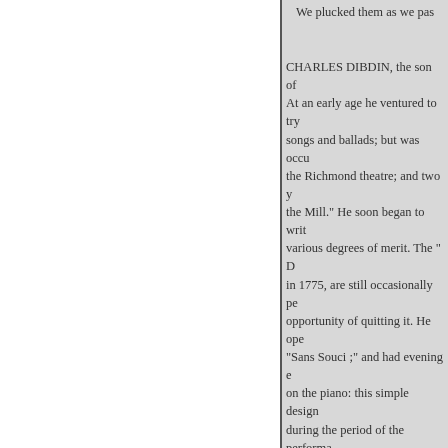We plucked them as we pas
CHARLES DIBDIN, the son of At an early age he ventured to try songs and ballads; but was occu the Richmond theatre; and two y the Mill." He soon began to writ various degrees of merit. The " D in 1775, are still occasionally pe opportunity of quitting it. He ope "Sans Souci ;" and had evening e on the piano: this simple design during the period of the perform music. He died in indigent circu Dibdin after enjoying it for three upon which it designed to mana resource. Other branches of his f also had to encounter adversity. which is owing to him from a na professors of literature, whose c debt to Charles Dibdin will yet b not confine it to the mere gratif the sentiments expressive of the